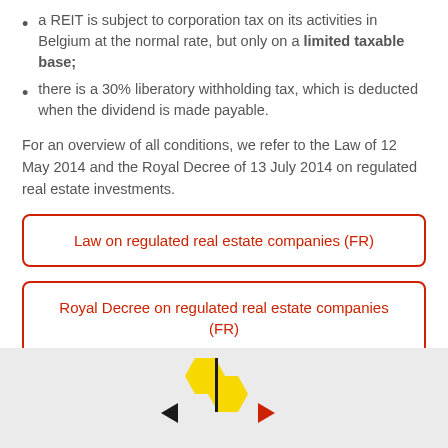a REIT is subject to corporation tax on its activities in Belgium at the normal rate, but only on a limited taxable base;
there is a 30% liberatory withholding tax, which is deducted when the dividend is made payable.
For an overview of all conditions, we refer to the Law of 12 May 2014 and the Royal Decree of 13 July 2014 on regulated real estate investments.
Law on regulated real estate companies (FR)
Royal Decree on regulated real estate companies (FR)
[Figure (logo): Partial logo with yellow and red geometric shapes on a light grey background, visible at bottom of page.]